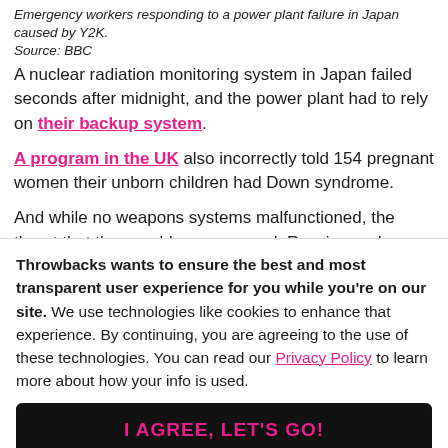Emergency workers responding to a power plant failure in Japan caused by Y2K.
Source: BBC
A nuclear radiation monitoring system in Japan failed seconds after midnight, and the power plant had to rely on their backup system.
A program in the UK also incorrectly told 154 pregnant women their unborn children had Down syndrome.
And while no weapons systems malfunctioned, the threat that they could was very real. Russian and
Throwbacks wants to ensure the best and most transparent user experience for you while you're on our site. We use technologies like cookies to enhance that experience. By continuing, you are agreeing to the use of these technologies. You can read our Privacy Policy to learn more about how your info is used.
I AGREE, LET'S GO!